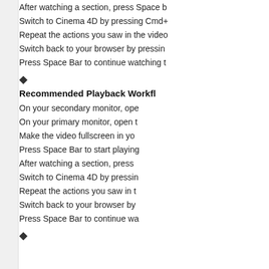After watching a section, press Space b…
Switch to Cinema 4D by pressing Cmd+…
Repeat the actions you saw in the video…
Switch back to your browser by pressin…
Press Space Bar to continue watching t…
◆
Recommended Playback Workfl…
On your secondary monitor, ope…
On your primary monitor, open t…
Make the video fullscreen in yo…
Press Space Bar to start playing…
After watching a section, press …
Switch to Cinema 4D by pressin…
Repeat the actions you saw in t…
Switch back to your browser by…
Press Space Bar to continue wa…
◆